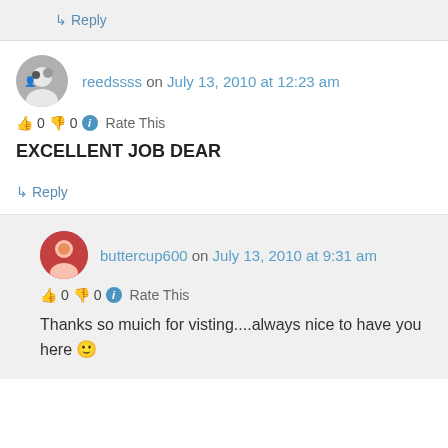↳ Reply
reedssss on July 13, 2010 at 12:23 am
👍 0 👎 0 ℹ Rate This
EXCELLENT JOB DEAR
↳ Reply
buttercup600 on July 13, 2010 at 9:31 am
👍 0 👎 0 ℹ Rate This
Thanks so muich for visting....always nice to have you here 🙂